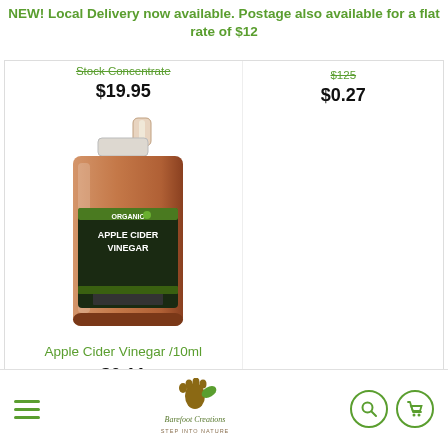NEW! Local Delivery now available. Postage also available for a flat rate of $12
Stock Concentrate  $125
$19.95
$0.27
[Figure (photo): Large jug/container of Organic Apple Cider Vinegar product]
Apple Cider Vinegar /10ml
$0.11
Barefoot Creations - Step Into Nature logo with navigation menu, search and cart icons